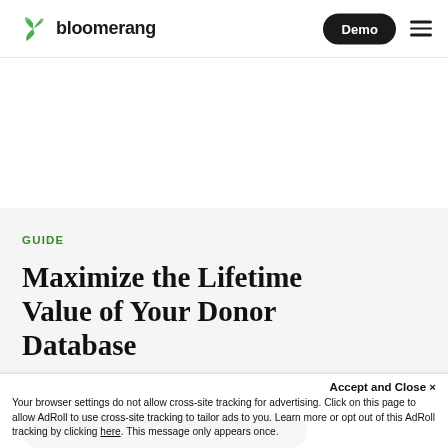bloomerang — Demo
GUIDE
Maximize the Lifetime Value of Your Donor Database
Download the free guide
Accept and Close ×
Your browser settings do not allow cross-site tracking for advertising. Click on this page to allow AdRoll to use cross-site tracking to tailor ads to you. Learn more or opt out of this AdRoll tracking by clicking here. This message only appears once.